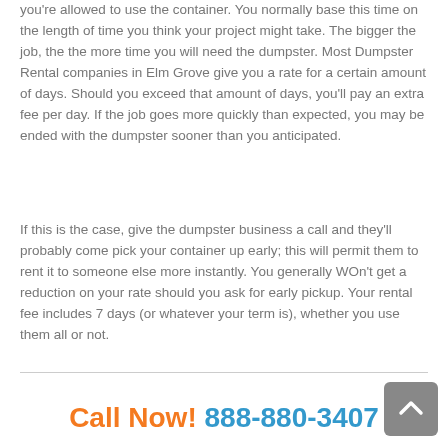you're allowed to use the container. You normally base this time on the length of time you think your project might take. The bigger the job, the the more time you will need the dumpster. Most Dumpster Rental companies in Elm Grove give you a rate for a certain amount of days. Should you exceed that amount of days, you'll pay an extra fee per day. If the job goes more quickly than expected, you may be ended with the dumpster sooner than you anticipated.
If this is the case, give the dumpster business a call and they'll probably come pick your container up early; this will permit them to rent it to someone else more instantly. You generally WOn't get a reduction on your rate should you ask for early pickup. Your rental fee includes 7 days (or whatever your term is), whether you use them all or not.
Call Now! 888-880-3407